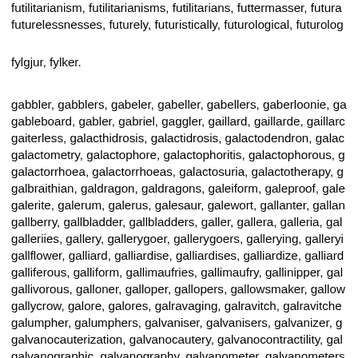futilitarianism, futilitarianisms, futilitarians, futtermasser, futura... futurelessnesses, futurely, futuristically, futurological, futurolog...
fylgjur, fylker.
gabbler, gabblers, gabeler, gabeller, gabellers, gaberloonie, ga... gableboard, gabler, gabriel, gaggler, gaillard, gaillarde, gaillarc... gaiterless, galacthidrosis, galactidrosis, galactodendron, galac... galactometry, galactophore, galactophoritis, galactophorous, g... galactorrhoea, galactorrhoeas, galactosuria, galactotherapy, g... galbraithian, galdragon, galdragons, galeiform, galeproof, gale... galerite, galerum, galerus, galesaur, galewort, gallanter, gallan... gallberry, gallbladder, gallbladders, galler, gallera, galleria, gal... galleriies, gallery, gallerygoer, gallerygoers, gallerying, galleryi... gallflower, galliard, galliardise, galliardises, galliardize, galliard... galliferous, galliform, gallimaufries, gallimaufry, gallinipper, gal... gallivorous, galloner, galloper, gallopers, gallowsmaker, gallow... gallycrow, galore, galores, galravaging, galravitch, galravitche... galumpher, galumphers, galvaniser, galvanisers, galvanizer, g... galvanocauterization, galvanocautery, galvanocontractility, gal... galvanographic, galvanography, galvanometer, galvanometers... galvanometrically, galvanometries, galvanometry, galvanopun... galvanothermometer, galvanothermy, galvanotropic, galvanotr... gamboller, gambrel, gambreled, gambrelled, gambrels, gamm... ganglander, gangliar, ganglier, gangliform, ganglioform, gangli... ganglioneuroma, ganglioneuron, gangrel, gangrels, gangster...